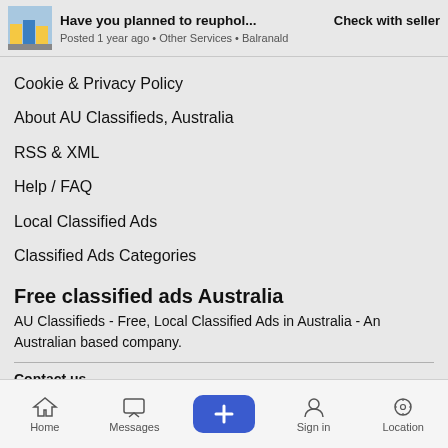Have you planned to reuphol... Check with seller
Posted 1 year ago • Other Services • Balranald
Cookie & Privacy Policy
About AU Classifieds, Australia
RSS & XML
Help / FAQ
Local Classified Ads
Classified Ads Categories
Free classified ads Australia
AU Classifieds - Free, Local Classified Ads in Australia - An Australian based company.
Contact us
Copyright © 2022 AU Classifieds All rights reserved.
Home  Messages  +  Sign in  Location